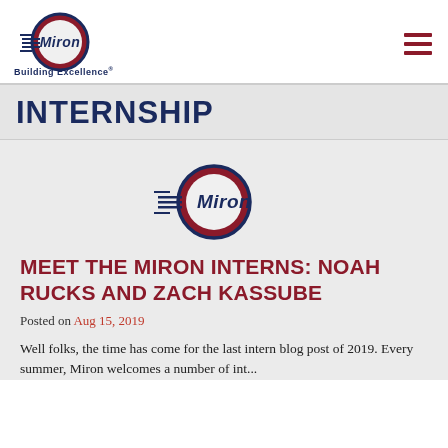[Figure (logo): Miron Construction logo with red circle and white/dark blue 'Miron' text with speed lines, and 'Building Excellence' tagline below]
INTERNSHIP
[Figure (logo): Miron Construction logo centered, red circle with Miron text]
MEET THE MIRON INTERNS: NOAH RUCKS AND ZACH KASSUBE
Posted on Aug 15, 2019
Well folks, the time has come for the last intern blog post of 2019. Every summer, Miron welcomes a number of interns...